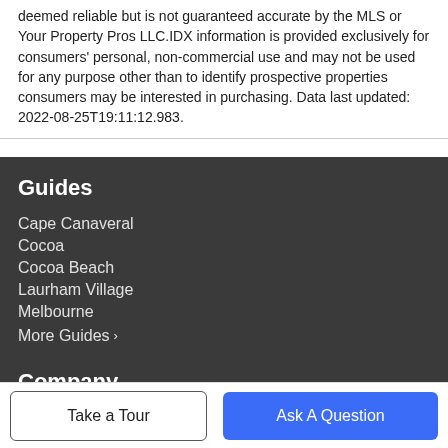deemed reliable but is not guaranteed accurate by the MLS or Your Property Pros LLC.IDX information is provided exclusively for consumers' personal, non-commercial use and may not be used for any purpose other than to identify prospective properties consumers may be interested in purchasing. Data last updated: 2022-08-25T19:11:12.983.
Guides
Cape Canaveral
Cocoa
Cocoa Beach
Laurham Village
Melbourne
More Guides >
Company
Take a Tour
Ask A Question